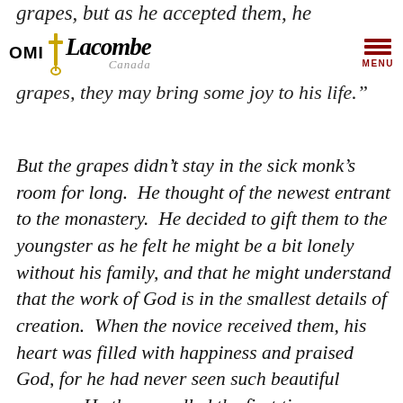OMI Lacombe Canada [logo with menu]
grapes, but as he accepted them, he
grapes, they may bring some joy to his life.”
But the grapes didn’t stay in the sick monk’s room for long.  He thought of the newest entrant to the monastery.  He decided to gift them to the youngster as he felt he might be a bit lonely without his family, and that he might understand that the work of God is in the smallest details of creation.  When the novice received them, his heart was filled with happiness and praised God, for he had never seen such beautiful grapes.  He then recalled the first time